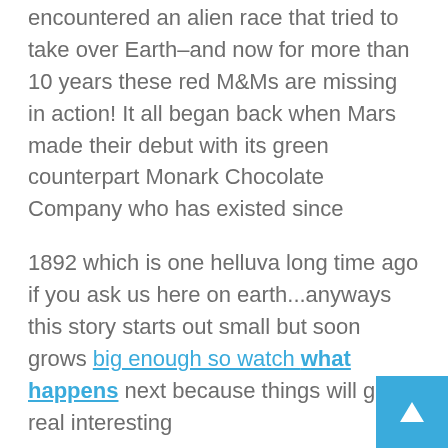encountered an alien race that tried to take over Earth–and now for more than 10 years these red M&Ms are missing in action! It all began back when Mars made their debut with its green counterpart Monark Chocolate Company who has existed since
1892 which is one helluva long time ago if you ask us here on earth...anyways this story starts out small but soon grows big enough so watch what happens next because things will get real interesting
What's the oldest Pop Culture Icon to still be around?
M&Ms. They first appeared inarguably as a food product back on November 1, 1939 at their inception date of '39-NOV'. That means these little brown bags with yellow dots have been alive for nearly 80